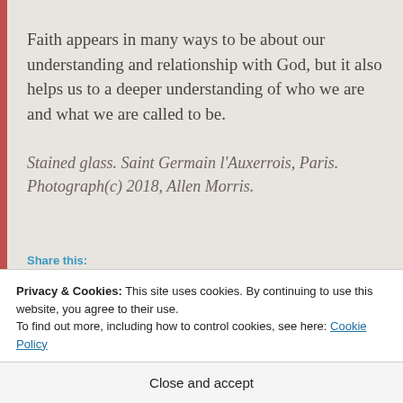Faith appears in many ways to be about our understanding and relationship with God, but it also helps us to a deeper understanding of who we are and what we are called to be.
Stained glass. Saint Germain l’Auxerrois, Paris. Photograph(c) 2018, Allen Morris.
Share this:
Privacy & Cookies: This site uses cookies. By continuing to use this website, you agree to their use. To find out more, including how to control cookies, see here: Cookie Policy
Close and accept